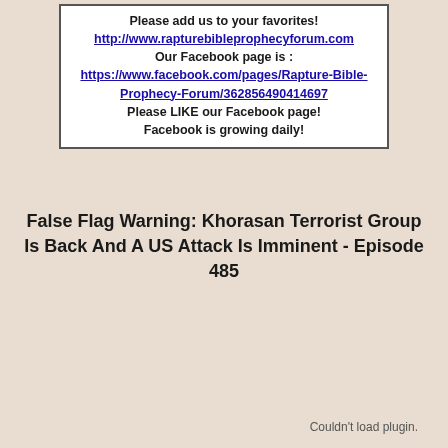Please add us to your favorites! http://www.rapturebibleprophecyforum.com Our Facebook page is : https://www.facebook.com/pages/Rapture-Bible-Prophecy-Forum/362856490414697 Please LIKE our Facebook page! Facebook is growing daily!
False Flag Warning: Khorasan Terrorist Group Is Back And A US Attack Is Imminent - Episode 485
Couldn't load plugin.